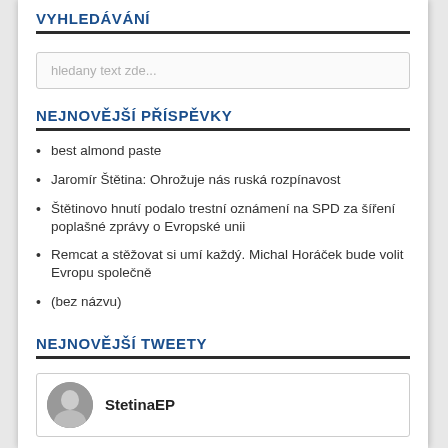VYHLEDÁVÁNÍ
hledany text zde...
NEJNOVĚJŠÍ PŘÍSPĚVKY
best almond paste
Jaromír Štětina: Ohrožuje nás ruská rozpínavost
Štětinovo hnutí podalo trestní oznámení na SPD za šíření poplašné zprávy o Evropské unii
Remcat a stěžovat si umí každý. Michal Horáček bude volit Evropu společně
(bez názvu)
NEJNOVĚJŠÍ TWEETY
StetinaEP